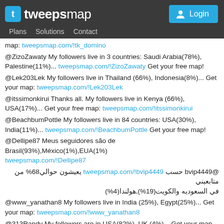tweepsmap | Plans | Solutions | Contact | Login
map: tweepsmap.com/!tk_domino
@ZizoZawaty My followers live in 3 countries: Saudi Arabia(78%), Palestine(11%)... tweepsmap.com/!ZizoZawaty Get your free map!
@Lek203Lek My followers live in Thailand (66%), Indonesia(8%)... Get your map: tweepsmap.com/!Lek203Lek
@itssimonkirui Thanks all. My followers live in Kenya (66%), USA(17%)... Get your free map: tweepsmap.com/!itssimonkirui
@BeachbumPottle My followers live in 84 countries: USA(30%), India(11%)... tweepsmap.com/!BeachbumPottle Get your free map!
@Dellipe87 Meus seguidores são de Brasil(93%),México(1%),EUA(1%) tweepsmap.com/!Dellipe87
@bvip4449 حسب tweepsmap.com/!bvip4449 يعيشون حوالي68% من متابعيني في السعوديه والكويت(19%),هولندا(4%)
@www_yanathan8 My followers live in India (25%), Egypt(25%)... Get your map: tweepsmap.com/!www_yanathan8
@313Randy My followers are in USA(82%), UK.(4%)... Get your map too: tweepsmap.com/!313Randy
@LimberCambaraFl Mis seguidores viven en Bolivia(84%),España(6%),Estados Unidos(2%) y más tweepsmap.com/!LimberCambaraFl
@abo_faisal39 حسب tweepsmap.com/!abo_faisal39 يعيشون حوالي68% من متابعيني في السعوديه ومصر(9%),الامارات العربيه المتحده(6%)